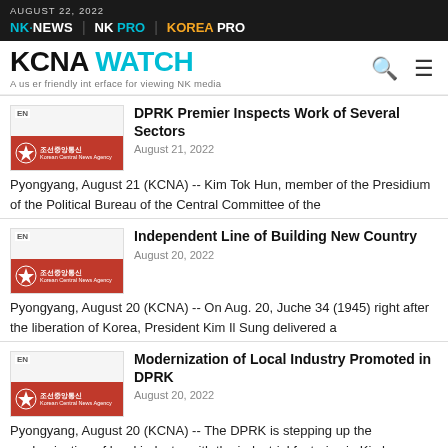AUGUST 22, 2022 | NK NEWS | NK PRO | KOREA PRO
KCNA WATCH — A user friendly interface for viewing NK media
DPRK Premier Inspects Work of Several Sectors
August 21, 2022
Pyongyang, August 21 (KCNA) -- Kim Tok Hun, member of the Presidium of the Political Bureau of the Central Committee of the
Independent Line of Building New Country
August 20, 2022
Pyongyang, August 20 (KCNA) -- On Aug. 20, Juche 34 (1945) right after the liberation of Korea, President Kim Il Sung delivered a
Modernization of Local Industry Promoted in DPRK
August 20, 2022
Pyongyang, August 20 (KCNA) -- The DPRK is stepping up the modernization of local industry with the industrial factories in Kimhwa